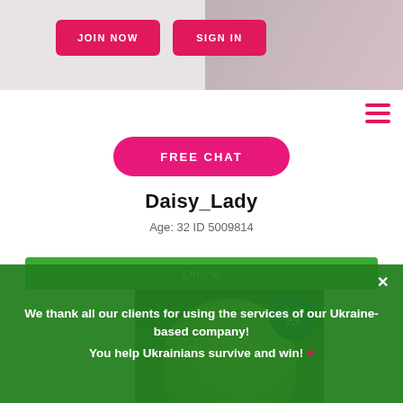[Figure (screenshot): Website header background with pink/grey tones]
JOIN NOW
SIGN IN
FREE CHAT
Daisy_Lady
Age: 32 ID 5009814
Online
[Figure (photo): Profile photo of a blonde woman in a green outfit with EU badge overlay]
We thank all our clients for using the services of our Ukraine-based company! You help Ukrainians survive and win! ❤